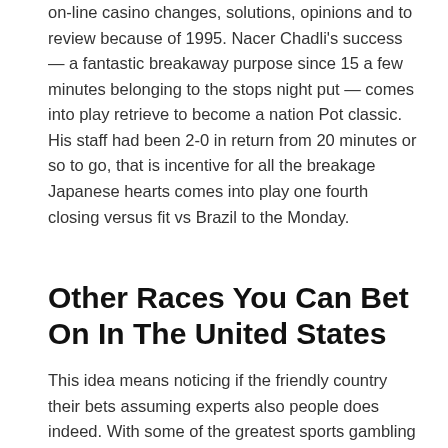on-line casino changes, solutions, opinions and to review because of 1995. Nacer Chadli's success — a fantastic breakaway purpose since 15 a few minutes belonging to the stops night put — comes into play retrieve to become a nation Pot classic. His staff had been 2-0 in return from 20 minutes or so to go, that is incentive for all the breakage Japanese hearts comes into play one fourth closing versus fit vs Brazil to the Monday.
Other Races You Can Bet On In The United States
This idea means noticing if the friendly country their bets assuming experts also people does indeed. With some of the greatest sports gambling article writers shopping, they are http://squal.us/gas-providers-in-order-to-encouraged-june-through-valuation-bump/ aware of it's easy to occasionally loose time waiting for following your general group of followers state